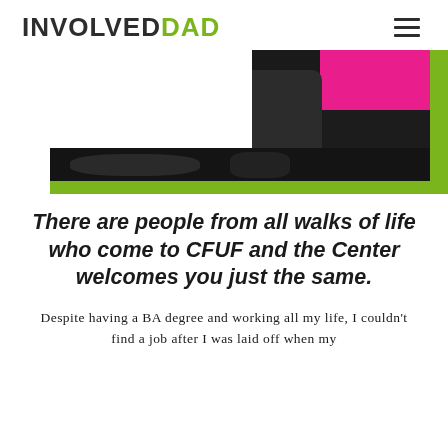INVOLVEDDAD
[Figure (photo): Hero image showing a person in pink/magenta clothing on the right side, with a dark background and headphones visible at the bottom. Green accent bars frame the image on the right and bottom.]
There are people from all walks of life who come to CFUF and the Center welcomes you just the same.
Despite having a BA degree and working all my life, I couldn't find a job after I was laid off when my